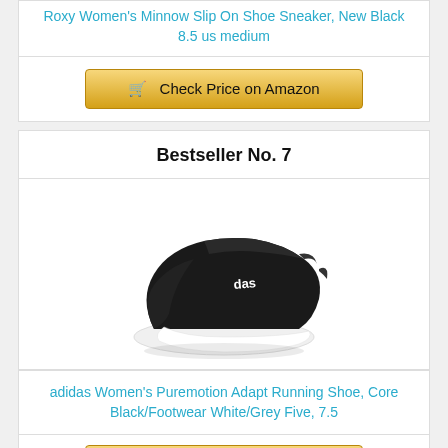Roxy Women's Minnow Slip On Shoe Sneaker, New Black 8.5 us medium
Check Price on Amazon
Bestseller No. 7
[Figure (photo): Black adidas slip-on running shoe with white sole and white adidas logo text]
adidas Women's Puremotion Adapt Running Shoe, Core Black/Footwear White/Grey Five, 7.5
Check Price on Amazon